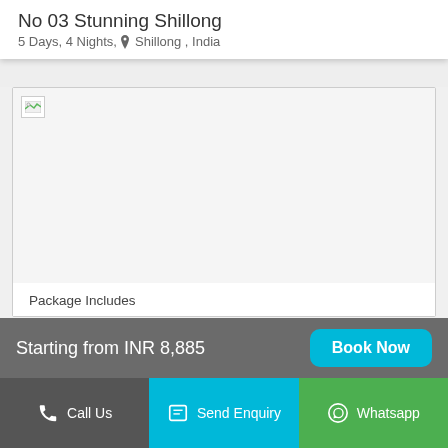No 03 Stunning Shillong
5 Days, 4 Nights, ▾ Shillong , India
[Figure (photo): Broken/unloaded image placeholder for Shillong travel package]
Package Includes
Starting from INR 8,885
Book Now
Call Us
Send Enquiry
Whatsapp